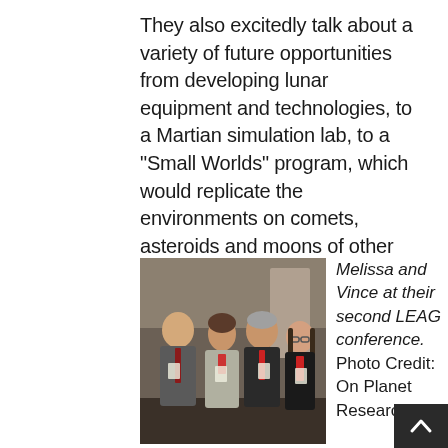They also excitedly talk about a variety of future opportunities from developing lunar equipment and technologies, to a Martian simulation lab, to a "Small Worlds" program, which would replicate the environments on comets, asteroids and moons of other planets.
[Figure (photo): Four people standing together posing for a photo at a conference. Two men and two women, all wearing conference badges. The setting appears to be indoors.]
Melissa and Vince at their second LEAG conference. Photo Credit: On Planet Research,